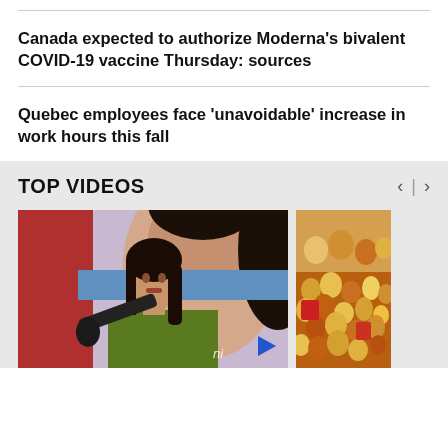Canada expected to authorize Moderna's bivalent COVID-19 vaccine Thursday: sources
Quebec employees face 'unavoidable' increase in work hours this fall
TOP VIDEOS
[Figure (photo): Woman in green top being interviewed, microphone held toward her, crowd/poster in background]
[Figure (photo): Large crowd of people gathered outdoors]